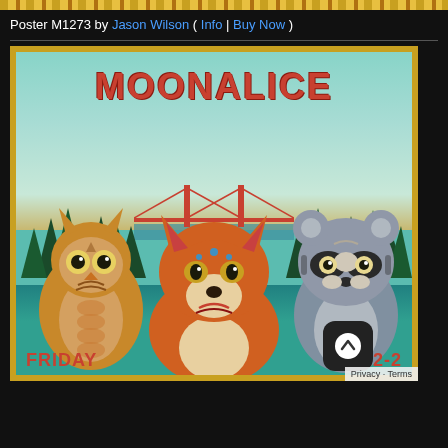[Figure (illustration): Decorative top banner with gold/yellow repeating geometric pattern border]
Poster M1273 by Jason Wilson ( Info | Buy Now )
[Figure (illustration): Moonalice concert poster M1273 by Jason Wilson. Features the word MOONALICE in large red letters at top. Background shows a teal sky with the Golden Gate Bridge visible among pine trees. Foreground features three animals: an owl on the left, a fox in the center, and a raccoon on the right, all in a colorful folk art style. Bottom text reads FRIDAY and 04-22-2 (date partially visible). Gold border frame around the poster.]